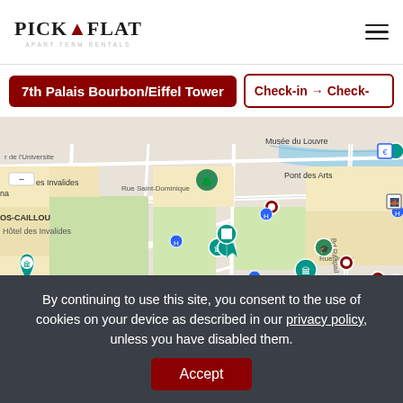PICK A FLAT - APART TERM RENTALS
7th Palais Bourbon/Eiffel Tower
Check-in → Check-out
[Figure (map): Google Maps view of the 7th arrondissement of Paris, France, showing Hôtel des Invalides, Musée Rodin, Pont des Arts, Le Bon Marché, and surrounding streets. Multiple dark red circular markers indicate apartment locations.]
By continuing to use this site, you consent to the use of cookies on your device as described in our privacy policy, unless you have disabled them.